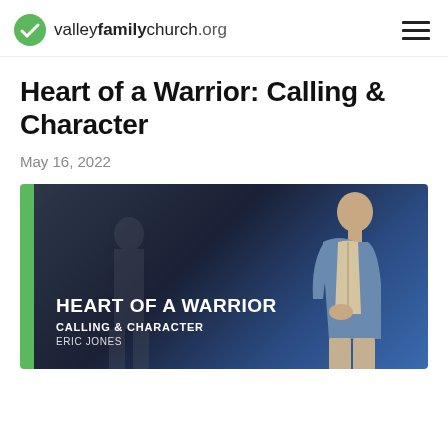valleyfamilychurch.org
Heart of a Warrior: Calling & Character
May 16, 2022
[Figure (photo): Sermon thumbnail image with green left bar, dark/blue background, text overlay reading HEART OF A WARRIOR / CALLING & CHARACTER / ERIC JONES, with a man standing on stage in a denim jacket and a silhouetted figure in the background]